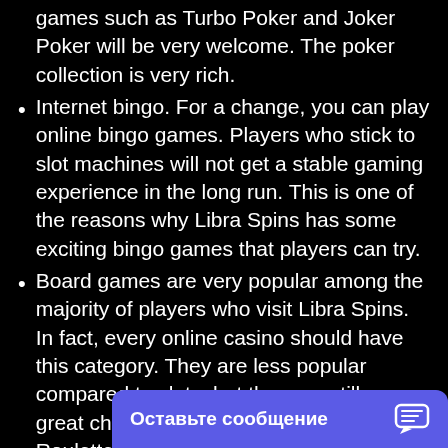games such as Turbo Poker and Joker Poker will be very welcome. The poker collection is very rich.
Internet bingo. For a change, you can play online bingo games. Players who stick to slot machines will not get a stable gaming experience in the long run. This is one of the reasons why Libra Spins has some exciting bingo games that players can try.
Board games are very popular among the majority of players who visit Libra Spins. In fact, every online casino should have this category. They are less popular compared to slots, but they are still a great choice. To get started, try European Roulette, Deuces Wild, Blackjack or Blackjack VIP.
LIBRA SPINS Live casino. For most players who like this kind of game, this section meets all the requirements. Live Casino Dealer online offers high-quality games from over a hundred gaming providers. These include BetSoft, Wazdan, Boong... Gaming, Vivo Gaming, etc. Pl... Communication... is carried out vi...
[Figure (screenshot): A blue notification bar at the bottom of the screen with the text 'Оставьте сообщение' (Leave a message) in white bold font and a chat icon on the right.]